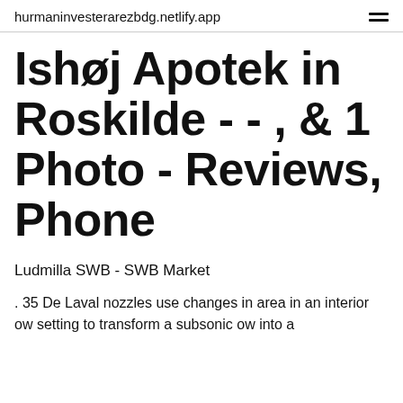hurmaninvesterarezbdg.netlify.app
Ishøj Apotek in Roskilde - - , & 1 Photo - Reviews, Phone
Ludmilla SWB - SWB Market
. 35 De Laval nozzles use changes in area in an interior ow setting to transform a subsonic ow into a